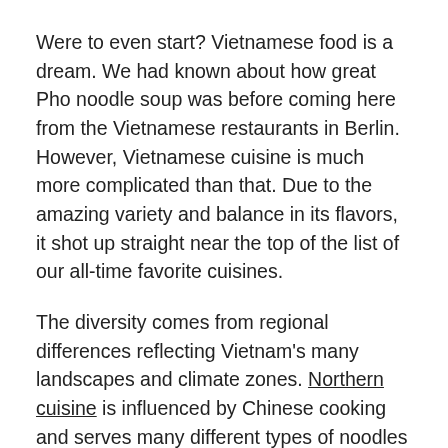Were to even start? Vietnamese food is a dream. We had known about how great Pho noodle soup was before coming here from the Vietnamese restaurants in Berlin. However, Vietnamese cuisine is much more complicated than that. Due to the amazing variety and balance in its flavors, it shot up straight near the top of the list of our all-time favorite cuisines.
The diversity comes from regional differences reflecting Vietnam's many landscapes and climate zones. Northern cuisine is influenced by Chinese cooking and serves many different types of noodles soups and hearty steamed dishes. In the central regions, where chilies and pepper are grown, the dishes are more spicy and flavorful. In Hue, the former imperial capital, the royal cooks got very